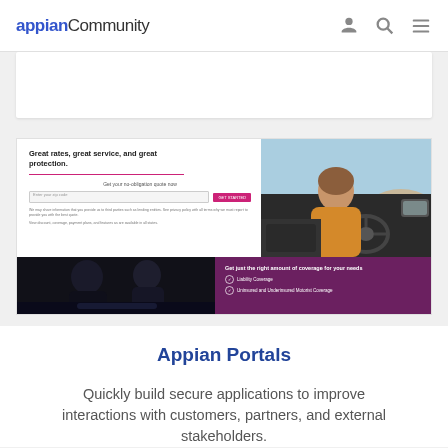appian Community
[Figure (screenshot): Screenshot of an insurance web application showing: top-left a quote form with text 'Great rates, great service, and great protection.' with a pink underline and a 'GET STARTED' button; top-right a photo of a woman driving a car; bottom-left a dark photo of people in a car interior; bottom-right a purple panel with text 'Get just the right amount of coverage for your needs' and checkmark items 'Liability Coverage' and 'Uninsured and Underinsured Motorist Coverage']
Appian Portals
Quickly build secure applications to improve interactions with customers, partners, and external stakeholders.